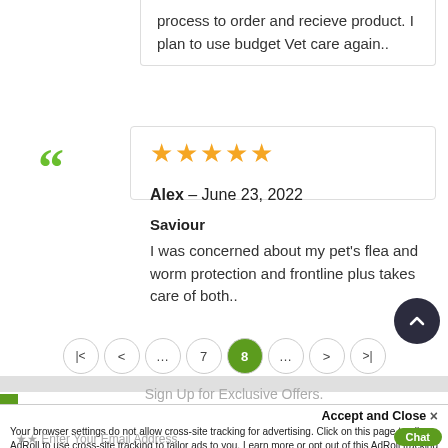process to order and recieve product. I plan to use budget Vet care again..
[Figure (other): Green quotation mark icon]
[Figure (other): Five yellow star rating]
Alex – June 23, 2022
Saviour
I was concerned about my pet's flea and worm protection and frontline plus takes care of both..
|< < … 7 8 … > >|
Sign Up for Exclusive Offers.
Accept and Close ×
Your browser settings do not allow cross-site tracking for advertising. Click on this page to allow AdRoll to use cross-site tracking to tailor ads to you. Learn more or opt out of this AdRoll tracking by clicking here. This message only appears once.
Enter Your Email Address